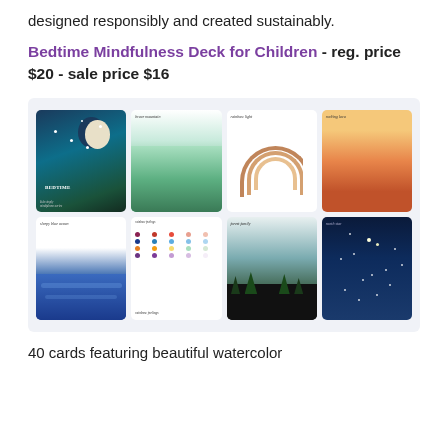designed responsibly and created sustainably.
Bedtime Mindfulness Deck for Children - reg. price $20 - sale price $16
[Figure (photo): Photo of the Bedtime Mindfulness Deck for Children card set, showing 7 illustrated cards spread out on a light background. Cards include watercolor illustrations: a night sky with moon, a mountain landscape, a rainbow, a sunset landscape, a blue ocean, a color dots chart (rainbow feelings), a forest scene, and a starry night sky.]
40 cards featuring beautiful watercolor